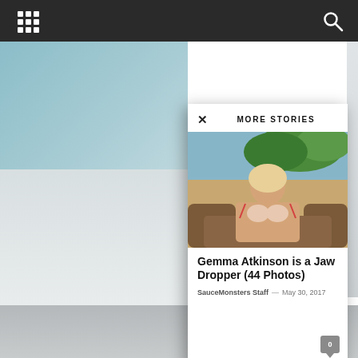MORE STORIES
[Figure (photo): Blonde woman sitting on brown sofa wearing white lace bra, outdoor pool visible in background]
Gemma Atkinson is a Jaw Dropper (44 Photos)
SauceMonsters Staff  -  May 30, 2017